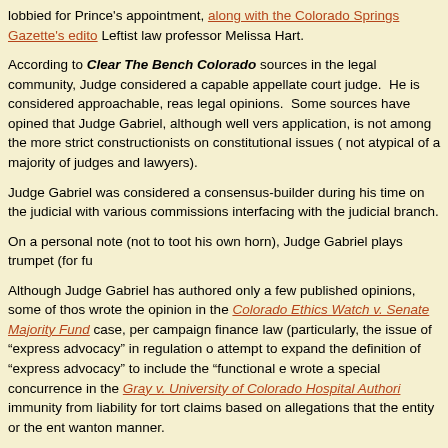lobbied for Prince's appointment, along with the Colorado Springs Gazette's edito Leftist law professor Melissa Hart.
According to Clear The Bench Colorado sources in the legal community, Judge considered a capable appellate court judge. He is considered approachable, reas legal opinions. Some sources have opined that Judge Gabriel, although well vers application, is not among the more strict constructionists on constitutional issues ( not atypical of a majority of judges and lawyers).
Judge Gabriel was considered a consensus-builder during his time on the judicial with various commissions interfacing with the judicial branch.
On a personal note (not to toot his own horn), Judge Gabriel plays trumpet (for fu
Although Judge Gabriel has authored only a few published opinions, some of thos wrote the opinion in the Colorado Ethics Watch v. Senate Majority Fund case, per campaign finance law (particularly, the issue of "express advocacy" in regulation o attempt to expand the definition of "express advocacy" to include the "functional e wrote a special concurrence in the Gray v. University of Colorado Hospital Authori immunity from liability for tort claims based on allegations that the entity or the ent wanton manner.
Our View: Judge Gabriel is likely to be a fairly middle-of-the-road jurist, who will impartial and balanced Colorado Supreme Court (the court has advanced leaps a "Mullarkey Majority" days from as recently as five years ago). Clear The Bench C detailed analysis of Judge Gabriel's performance on the Colorado Supreme Court scheduled retention vote in 2019.